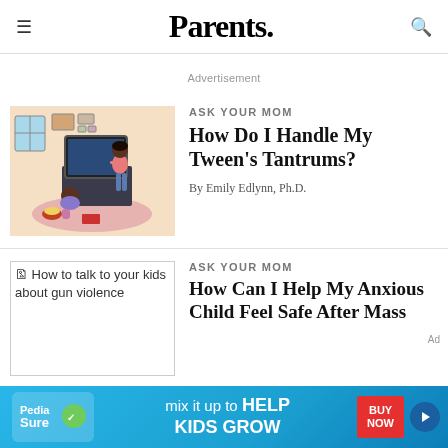Parents.
Advertisement
[Figure (illustration): Illustration of a parent standing in front of a TV while a child sits on the floor with a bowl of snacks]
ASK YOUR MOM
How Do I Handle My Tween's Tantrums?
By Emily Edlynn, Ph.D.
[Figure (illustration): Broken image placeholder reading: How to talk to your kids about gun violence]
ASK YOUR MOM
How Can I Help My Anxious Child Feel Safe After Mass
[Figure (illustration): PediaSure advertisement banner: mix it up to HELP KIDS GROW with BUY NOW button]